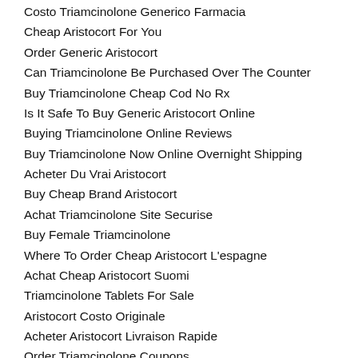Costo Triamcinolone Generico Farmacia
Cheap Aristocort For You
Order Generic Aristocort
Can Triamcinolone Be Purchased Over The Counter
Buy Triamcinolone Cheap Cod No Rx
Is It Safe To Buy Generic Aristocort Online
Buying Triamcinolone Online Reviews
Buy Triamcinolone Now Online Overnight Shipping
Acheter Du Vrai Aristocort
Buy Cheap Brand Aristocort
Achat Triamcinolone Site Securise
Buy Female Triamcinolone
Where To Order Cheap Aristocort L'espagne
Achat Cheap Aristocort Suomi
Triamcinolone Tablets For Sale
Aristocort Costo Originale
Acheter Aristocort Livraison Rapide
Order Triamcinolone Coupons
Gb Cheap Aristocort Where To Buy